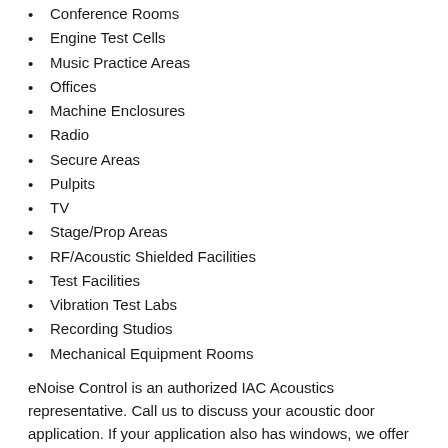Conference Rooms
Engine Test Cells
Music Practice Areas
Offices
Machine Enclosures
Radio
Secure Areas
Pulpits
TV
Stage/Prop Areas
RF/Acoustic Shielded Facilities
Test Facilities
Vibration Test Labs
Recording Studios
Mechanical Equipment Rooms
eNoise Control is an authorized IAC Acoustics representative. Call us to discuss your acoustic door application. If your application also has windows, we offer IAC Acoustic Window products.